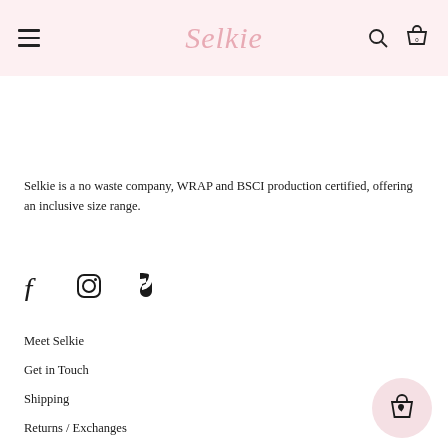Selkie
Selkie is a no waste company, WRAP and BSCI production certified, offering an inclusive size range.
[Figure (other): Social media icons: Facebook, Instagram, TikTok]
Meet Selkie
Get in Touch
Shipping
Returns / Exchanges
Start a Return
[Figure (other): Shopping bag with heart icon in pink circle bubble]